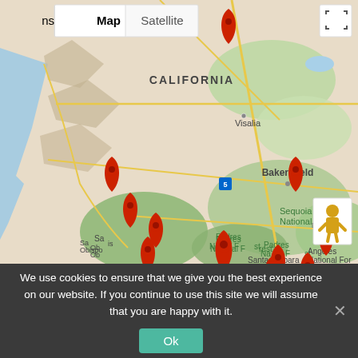[Figure (map): Google Maps view of central/southern California showing red map pin markers at multiple locations including near Visalia, Bakersfield, San Luis Obispo, Santa Maria, Santa Barbara, and Los Padres National Forest area. Map includes Map/Satellite toggle, fullscreen button, and Street View pegman. Labels visible: CALIFORNIA, Visalia, Sequoia National Forest, Bakersfield, San Luis Obispo, Santa Maria, Padres National Forest, Santa Barbara, Angeles National Forest.]
We use cookies to ensure that we give you the best experience on our website. If you continue to use this site we will assume that you are happy with it.
Ok